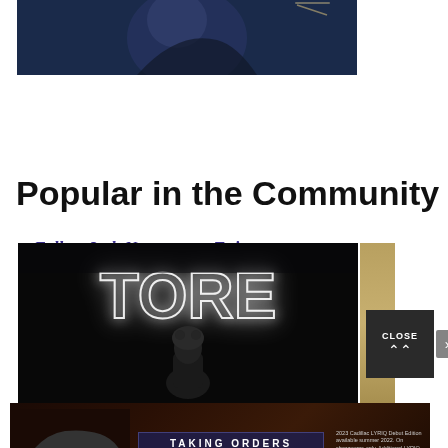[Figure (photo): Partial photo of a person in dark clothing with blue/navy tones, cropped at top of page]
Follow Josh Newman on Twitter
Popular in the Community
[Figure (photo): Dark concert/event photo showing large neon-outlined text 'TORE' or 'TORE5' with a person visible below]
[Figure (photo): Cadillac advertisement banner - 'TAKING ORDERS MAY 19' with car image and fine print about 2023 Cadillac LYRIQ Details Edition]